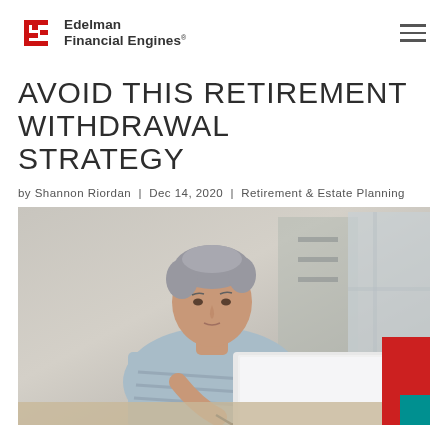Edelman Financial Engines®
AVOID THIS RETIREMENT WITHDRAWAL STRATEGY
by Shannon Riordan | Dec 14, 2020 | Retirement & Estate Planning
[Figure (photo): Middle-aged woman with short grey hair sitting at a desk, writing with a pen while looking at an open laptop. She is wearing a light blue shirt. Background shows a home interior.]